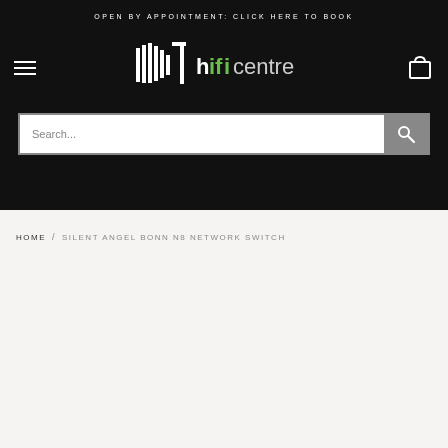OPEN BY APPOINTMENT: CLICK HERE TO BOOK
[Figure (logo): Hifi Centre logo with stylized black and white wave graphic and text 'hifi centre' where 'hifi' is in black and 'centre' in grey, with a green 'T' letterform]
Search...
HOME / SILENT ANGEL BONN N8 NETWORK SWITCH